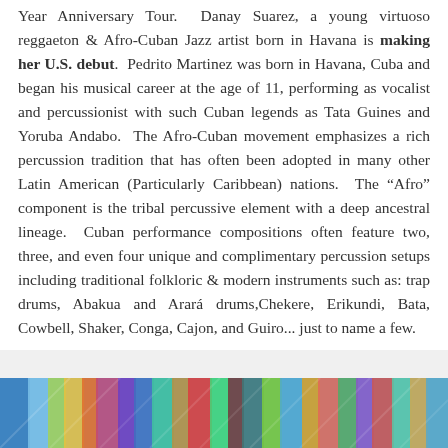Year Anniversary Tour.  Danay Suarez, a young virtuoso reggaeton & Afro-Cuban Jazz artist born in Havana is making her U.S. debut.  Pedrito Martinez was born in Havana, Cuba and began his musical career at the age of 11, performing as vocalist and percussionist with such Cuban legends as Tata Guines and Yoruba Andabo.  The Afro-Cuban movement emphasizes a rich percussion tradition that has often been adopted in many other Latin American (Particularly Caribbean) nations.  The “Afro” component is the tribal percussive element with a deep ancestral lineage.  Cuban performance compositions often feature two, three, and even four unique and complimentary percussion setups including traditional folkloric & modern instruments such as: trap drums, Abakua and Arará drums,Chekere, Erikundi, Bata, Cowbell, Shaker, Conga, Cajon, and Guiro... just to name a few.
[Figure (photo): Colorful image strip at the bottom of the page showing what appears to be performers or decorative flags/costumes with vivid colors including blue, green, yellow, orange, red, purple.]